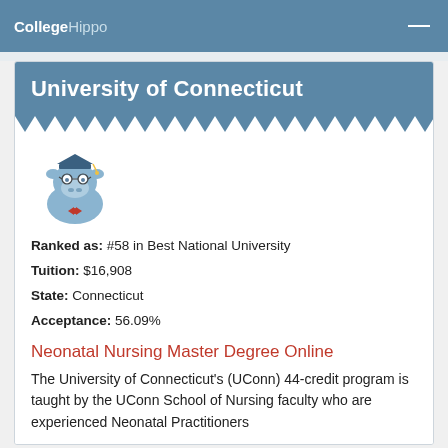CollegeHippo
University of Connecticut
[Figure (illustration): CollegeHippo mascot: a cartoon blue hippo wearing graduation cap and bow tie]
Ranked as: #58 in Best National University
Tuition: $16,908
State: Connecticut
Acceptance: 56.09%
Neonatal Nursing Master Degree Online
The University of Connecticut's (UConn) 44-credit program is taught by the UConn School of Nursing faculty who are experienced Neonatal Practitioners